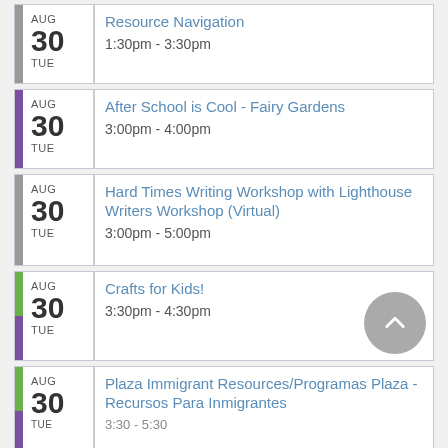AUG 30 TUE | Resource Navigation | 1:30pm - 3:30pm
AUG 30 TUE | After School is Cool - Fairy Gardens | 3:00pm - 4:00pm
AUG 30 TUE | Hard Times Writing Workshop with Lighthouse Writers Workshop (Virtual) | 3:00pm - 5:00pm
AUG 30 TUE | Crafts for Kids! | 3:30pm - 4:30pm
AUG 30 TUE | Plaza Immigrant Resources/Programas Plaza - Recursos Para Inmigrantes | 3:30 - 5:30